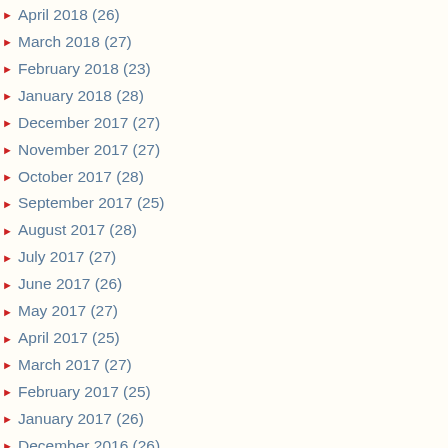April 2018 (26)
March 2018 (27)
February 2018 (23)
January 2018 (28)
December 2017 (27)
November 2017 (27)
October 2017 (28)
September 2017 (25)
August 2017 (28)
July 2017 (27)
June 2017 (26)
May 2017 (27)
April 2017 (25)
March 2017 (27)
February 2017 (25)
January 2017 (26)
December 2016 (26)
November 2016 (26)
October 2016 (23)
September 2016 (21)